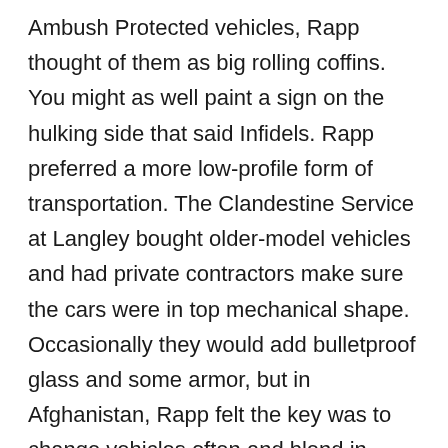Ambush Protected vehicles, Rapp thought of them as big rolling coffins. You might as well paint a sign on the hulking side that said Infidels. Rapp preferred a more low-profile form of transportation. The Clandestine Service at Langley bought older-model vehicles and had private contractors make sure the cars were in top mechanical shape. Occasionally they would add bulletproof glass and some armor, but in Afghanistan, Rapp felt the key was to change vehicles often and blend in.

As they hit the big turnaround at the corner of the embassy, Rapp felt his chest tighten. They were close to the gate and this was where the crazies liked to attack.